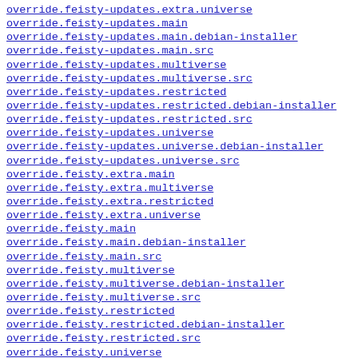override.feisty-updates.extra.universe
override.feisty-updates.main
override.feisty-updates.main.debian-installer
override.feisty-updates.main.src
override.feisty-updates.multiverse
override.feisty-updates.multiverse.src
override.feisty-updates.restricted
override.feisty-updates.restricted.debian-installer
override.feisty-updates.restricted.src
override.feisty-updates.universe
override.feisty-updates.universe.debian-installer
override.feisty-updates.universe.src
override.feisty.extra.main
override.feisty.extra.multiverse
override.feisty.extra.restricted
override.feisty.extra.universe
override.feisty.main
override.feisty.main.debian-installer
override.feisty.main.src
override.feisty.multiverse
override.feisty.multiverse.debian-installer
override.feisty.multiverse.src
override.feisty.restricted
override.feisty.restricted.debian-installer
override.feisty.restricted.src
override.feisty.universe
override.feisty.universe.debian-installer
override.feisty.universe.src
override.focal-backports.extra.main
override.focal-backports.extra.multiverse